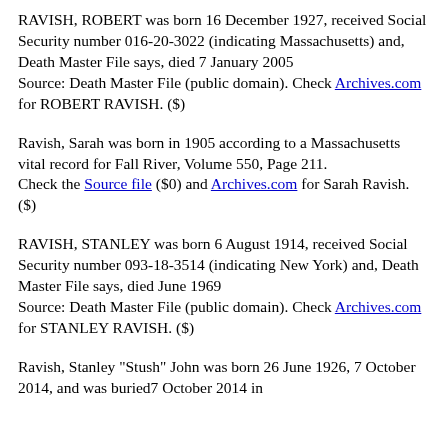RAVISH, ROBERT was born 16 December 1927, received Social Security number 016-20-3022 (indicating Massachusetts) and, Death Master File says, died 7 January 2005
Source: Death Master File (public domain). Check Archives.com for ROBERT RAVISH. ($)
Ravish, Sarah was born in 1905 according to a Massachusetts vital record for Fall River, Volume 550, Page 211.
Check the Source file ($0) and Archives.com for Sarah Ravish. ($)
RAVISH, STANLEY was born 6 August 1914, received Social Security number 093-18-3514 (indicating New York) and, Death Master File says, died June 1969
Source: Death Master File (public domain). Check Archives.com for STANLEY RAVISH. ($)
Ravish, Stanley "Stush" John was born 26 June 1926, 7 October 2014, and was buried7 October 2014 in